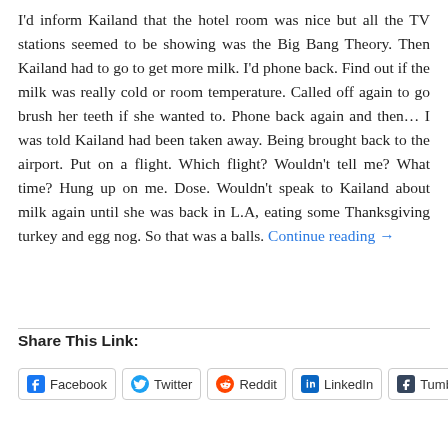I'd inform Kailand that the hotel room was nice but all the TV stations seemed to be showing was the Big Bang Theory. Then Kailand had to go to get more milk. I'd phone back. Find out if the milk was really cold or room temperature. Called off again to go brush her teeth if she wanted to. Phone back again and then… I was told Kailand had been taken away. Being brought back to the airport. Put on a flight. Which flight? Wouldn't tell me? What time? Hung up on me. Dose. Wouldn't speak to Kailand about milk again until she was back in L.A, eating some Thanksgiving turkey and egg nog. So that was a balls. Continue reading →
Share This Link:
Facebook  Twitter  Reddit  LinkedIn  Tumblr